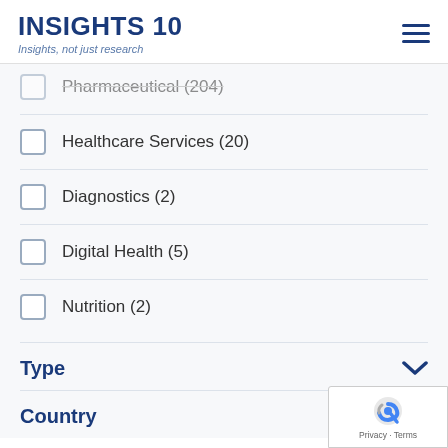INSIGHTS 10 — Insights, not just research
Pharmaceutical (204)
Healthcare Services (20)
Diagnostics (2)
Digital Health (5)
Nutrition (2)
Type
Country
[Figure (logo): reCAPTCHA badge with Privacy and Terms links]